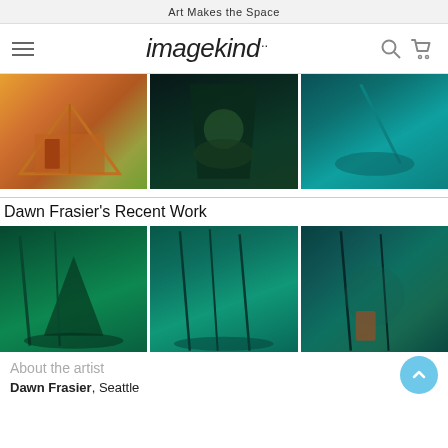Art Makes the Space
[Figure (logo): Imagekind logo with hamburger menu, search icon and cart icon]
[Figure (photo): Three artwork images: tropical A-frame building, dark tiki figures in palm trees, teal sailboat scene]
Dawn Frasier's Recent Work
[Figure (photo): Three recent work images by Dawn Frasier: teal tropical beach with tent, teal palm tree beach scene with sailboat, teal abstract tropical scene with colorful elements]
About the artist
Dawn Frasier, Seattle